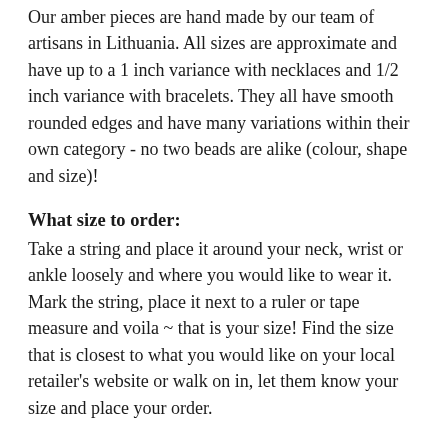Our amber pieces are hand made by our team of artisans in Lithuania. All sizes are approximate and have up to a 1 inch variance with necklaces and 1/2 inch variance with bracelets. They all have smooth rounded edges and have many variations within their own category - no two beads are alike (colour, shape and size)!
What size to order:
Take a string and place it around your neck, wrist or ankle loosely and where you would like to wear it. Mark the string, place it next to a ruler or tape measure and voila ~ that is your size! Find the size that is closest to what you would like on your local retailer's website or walk on in, let them know your size and place your order.